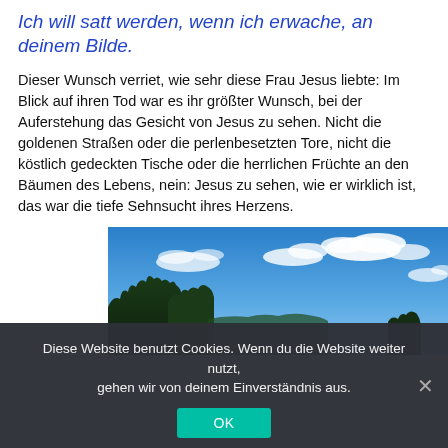Ich will satt werden, wenn ich erwache, an deinem Bilde.
Dieser Wunsch verriet, wie sehr diese Frau Jesus liebte: Im Blick auf ihren Tod war es ihr größter Wunsch, bei der Auferstehung das Gesicht von Jesus zu sehen. Nicht die goldenen Straßen oder die perlenbesetzten Tore, nicht die köstlich gedeckten Tische oder die herrlichen Früchte an den Bäumen des Lebens, nein: Jesus zu sehen, wie er wirklich ist, das war die tiefe Sehnsucht ihres Herzens.
[Figure (photo): A landscape photo showing a blue sky with white clouds and dark green trees/forest silhouette at the bottom.]
Diese Website benutzt Cookies. Wenn du die Website weiter nutzt, gehen wir von deinem Einverständnis aus. OK